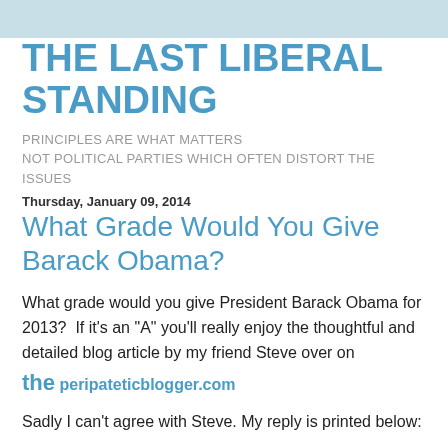THE LAST LIBERAL STANDING
PRINCIPLES ARE WHAT MATTERS NOT POLITICAL PARTIES WHICH OFTEN DISTORT THE ISSUES
Thursday, January 09, 2014
What Grade Would You Give Barack Obama?
What grade would you give President Barack Obama for 2013?  If it's an "A" you'll really enjoy the thoughtful and detailed blog article by my friend Steve over on the peripateticblogger.com
Sadly I can't agree with Steve. My reply is printed below: